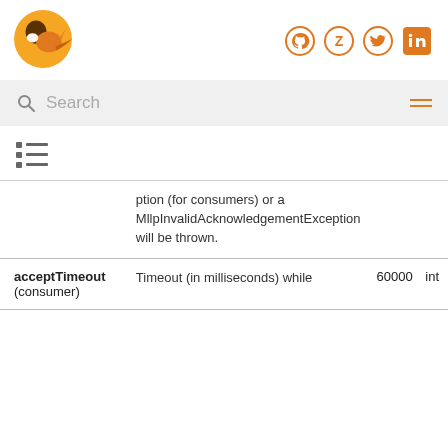[Figure (logo): Orange bird/animal logo icon on the top left]
[Figure (logo): Social media icons: GitHub, Z (Zulip), Twitter, LinkedIn in orange]
Search
[Figure (other): Hamburger menu icon]
[Figure (other): Table of contents icon (list icon)]
|  |  |  |  |
| --- | --- | --- | --- |
|  | ption (for consumers) or a MllpInvalidAcknowledgementException will be thrown. |  |  |
| acceptTimeout (consumer) | Timeout (in milliseconds) while | 60000 | int |